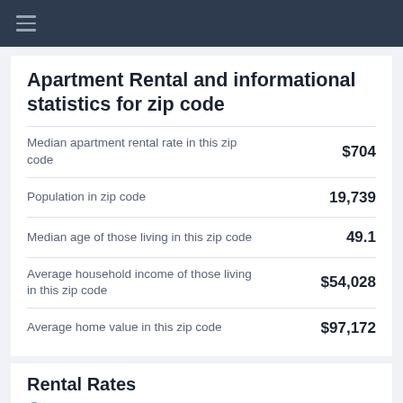≡
Apartment Rental and informational statistics for zip code
| Label | Value |
| --- | --- |
| Median apartment rental rate in this zip code | $704 |
| Population in zip code | 19,739 |
| Median age of those living in this zip code | 49.1 |
| Average household income of those living in this zip code | $54,028 |
| Average home value in this zip code | $97,172 |
Rental Rates
Laurel Wood Apartments Rental Rates As